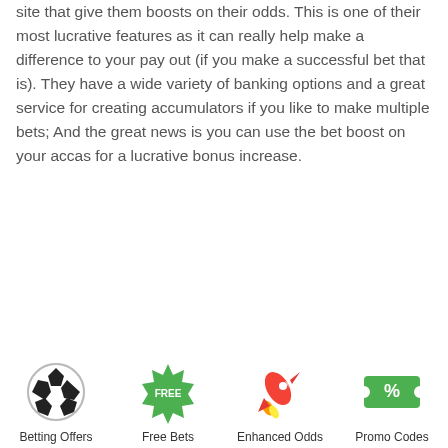site that give them boosts on their odds. This is one of their most lucrative features as it can really help make a difference to your pay out (if you make a successful bet that is). They have a wide variety of banking options and a great service for creating accumulators if you like to make multiple bets; And the great news is you can use the bet boost on your accas for a lucrative bonus increase.
[Figure (illustration): Four icons in a row at the bottom: a soccer ball (Betting Offers), a green FREE badge (Free Bets), a rocket (Enhanced Odds), and a green ticket with % (Promo Codes)]